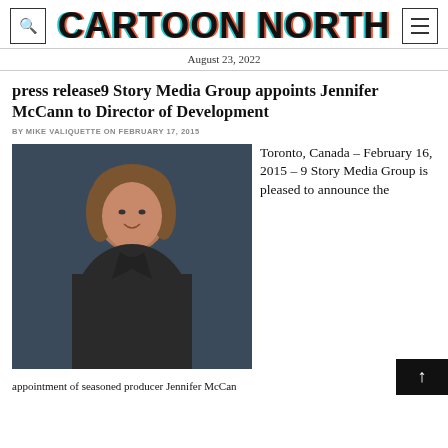CARTOON NORTH
August 23, 2022
press release9 Story Media Group appoints Jennifer McCann to Director of Development
BY MIKE VALIQUETTE ON FEBRUARY 17, 2015
[Figure (photo): Portrait photo of Jennifer McCann, a woman with short brown hair wearing a dark blazer, smiling, against a dark blue-grey background]
Toronto, Canada – February 16, 2015 – 9 Story Media Group is pleased to announce the
appointment of seasoned producer Jennifer McCann